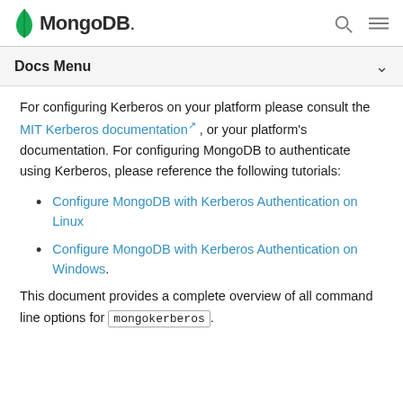MongoDB
Docs Menu
For configuring Kerberos on your platform please consult the MIT Kerberos documentation, or your platform's documentation. For configuring MongoDB to authenticate using Kerberos, please reference the following tutorials:
Configure MongoDB with Kerberos Authentication on Linux
Configure MongoDB with Kerberos Authentication on Windows.
This document provides a complete overview of all command line options for mongokerberos.